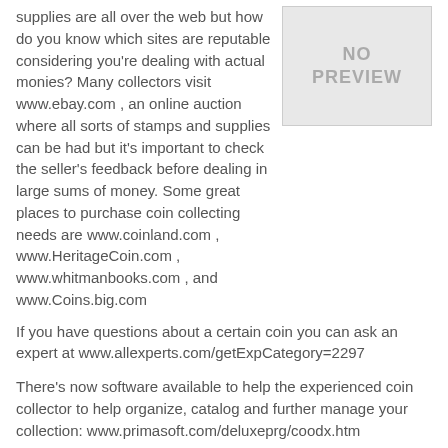supplies are all over the web but how do you know which sites are reputable considering you're dealing with actual monies? Many collectors visit www.ebay.com , an online auction where all sorts of stamps and supplies can be had but it's important to check the seller's feedback before dealing in large sums of money. Some great places to purchase coin collecting needs are www.coinland.com , www.HeritageCoin.com , www.whitmanbooks.com , and www.Coins.big.com
[Figure (other): No preview image placeholder box]
If you have questions about a certain coin you can ask an expert at www.allexperts.com/getExpCategory=2297
There's now software available to help the experienced coin collector to help organize, catalog and further manage your collection: www.primasoft.com/deluxeprg/coodx.htm
Coin auctions take place at www.coin-gallery.com where you can also find numismatic books and other educational resources